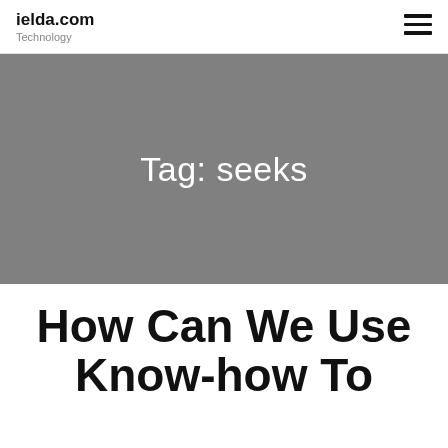ielda.com Technology
Tag: seeks
How Can We Use Know-how To